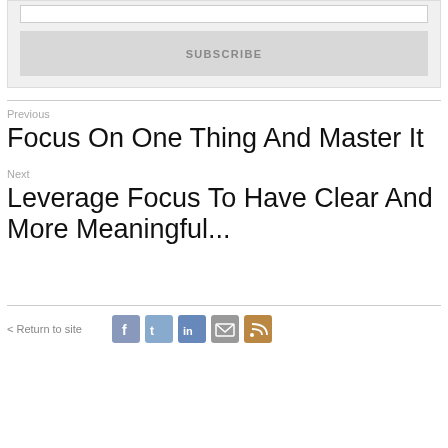[Figure (screenshot): Subscribe form with input field and SUBSCRIBE button on gray background]
Previous
Focus On One Thing And Master It
Next
Leverage Focus To Have Clear And More Meaningful...
< Return to site
[Figure (infographic): Social sharing icons: Facebook, Twitter, LinkedIn, Email, RSS]